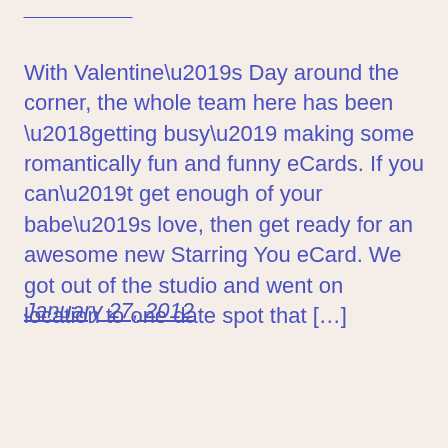With Valentine’s Day around the corner, the whole team here has been ‘getting busy’ making some romantically fun and funny eCards. If you can’t get enough of your babe’s love, then get ready for an awesome new Starring You eCard. We got out of the studio and went on location to one date spot that […]
January 27, 2012